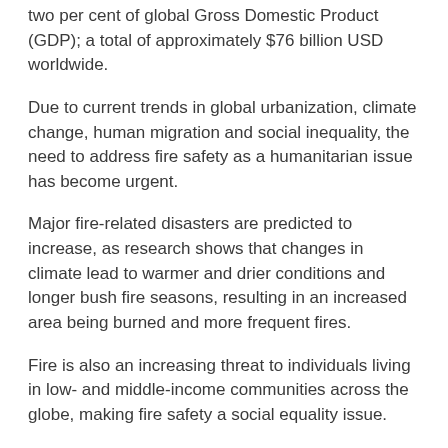two per cent of global Gross Domestic Product (GDP); a total of approximately $76 billion USD worldwide.
Due to current trends in global urbanization, climate change, human migration and social inequality, the need to address fire safety as a humanitarian issue has become urgent.
Major fire-related disasters are predicted to increase, as research shows that changes in climate lead to warmer and drier conditions and longer bush fire seasons, resulting in an increased area being burned and more frequent fires.
Fire is also an increasing threat to individuals living in low- and middle-income communities across the globe, making fire safety a social equality issue.
Fire statistics analysis shows a significantly greater fire risk associated with living in social housing (such as Grenfell Tower in London) and belonging to lower income